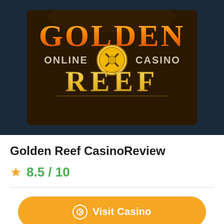[Figure (logo): Golden Reef Online Casino logo on dark brown background with gold text]
Golden Reef CasinoReview
8.5 / 10
Visit Casino